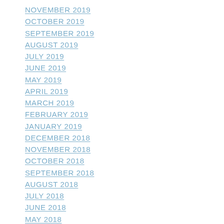NOVEMBER 2019
OCTOBER 2019
SEPTEMBER 2019
AUGUST 2019
JULY 2019
JUNE 2019
MAY 2019
APRIL 2019
MARCH 2019
FEBRUARY 2019
JANUARY 2019
DECEMBER 2018
NOVEMBER 2018
OCTOBER 2018
SEPTEMBER 2018
AUGUST 2018
JULY 2018
JUNE 2018
MAY 2018